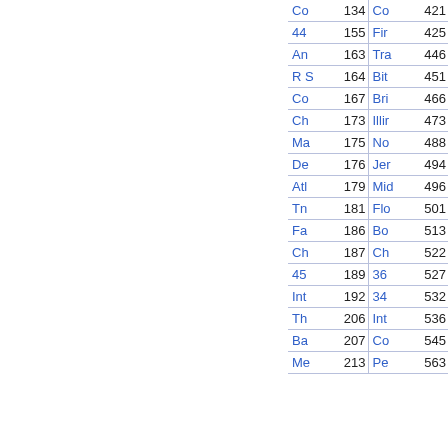| Entry | Page | Entry | Page |
| --- | --- | --- | --- |
| Co | 134 | Co | 421 |
| 44 | 155 | Fir | 425 |
| An | 163 | Tra | 446 |
| R S | 164 | Bit | 451 |
| Co | 167 | Bri | 466 |
| Ch | 173 | Illir | 473 |
| Ma | 175 | No | 488 |
| De | 176 | Jer | 494 |
| Atl | 179 | Mid | 496 |
| Tn | 181 | Flo | 501 |
| Fa | 186 | Bo | 513 |
| Ch | 187 | Ch | 522 |
| 45 | 189 | 36 | 527 |
| Int | 192 | 34 | 532 |
| Th | 206 | Int | 536 |
| Ba | 207 | Co | 545 |
| Me | 213 | Pe | 563 |